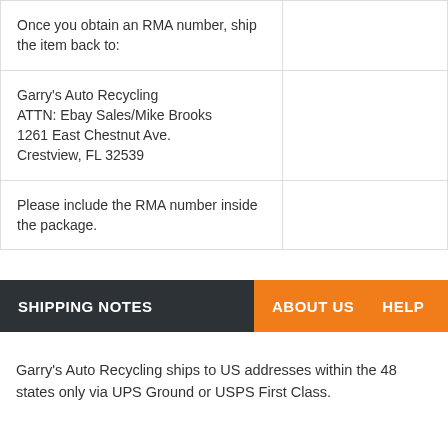Once you obtain an RMA number, ship the item back to:
Garry's Auto Recycling
ATTN: Ebay Sales/Mike Brooks
1261 East Chestnut Ave.
Crestview, FL 32539
Please include the RMA number inside the package.
SHIPPING NOTES   ABOUT US   HELP
Garry's Auto Recycling ships to US addresses within the 48 states only via UPS Ground or USPS First Class.